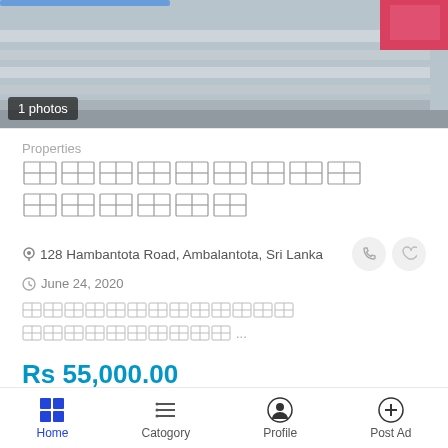[Figure (photo): Property photo showing a building/land image]
1 photos
Properties
[Sinhala script title - property listing name]
📍 128 Hambantota Road, Ambalantota, Sri Lanka
🕐 June 24, 2020
[Sinhala script description text] ...
Rs 55,000.00
(Negotiable)
👁 VIEW AD
Home  Catogory  Profile  Post Ad